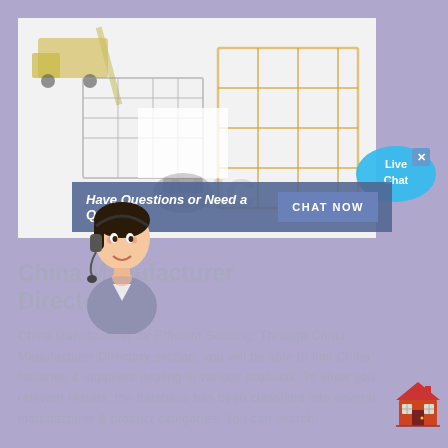[Figure (photo): Industrial/manufacturing equipment illustration showing construction cranes, machinery, and warehouse equipment on white background with AMC watermark]
[Figure (illustration): Live Chat speech bubble icon in cyan blue with white text 'Live Chat']
[Figure (photo): Woman wearing headset/microphone, customer service representative, overlapping the chat banner]
Have Questions or Need a Quote?
CHAT NOW
China Manufacturer Directory
China Manufacturer for Efficient Soucing. Through China Manufacturer Directory section, you will be able to find China factories & suppliers dealing in various products. To show you relevant results, the database has been classified into several manufacturer & product categories. You can search
[Figure (illustration): Small red house/home icon]